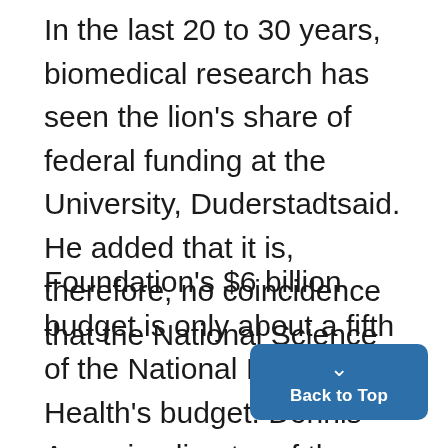In the last 20 to 30 years, biomedical research has seen the lion's share of federal funding at the University, Duderstadtsaid. He added that it is, therefore, no coincidence that the National Science
Foundation's $6 billion budget is only about a fifth of the National Institutes of Health's budget. Dennis Assanis, director of the Michigan Memorial Phoenix Energy Institute, said the MMPEI's origin in nuclear energy